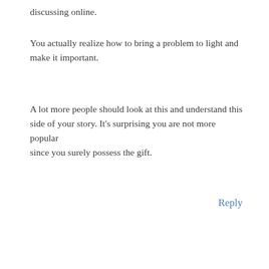discussing online.
You actually realize how to bring a problem to light and make it important.
A lot more people should look at this and understand this side of your story. It’s surprising you are not more popular since you surely possess the gift.
Reply